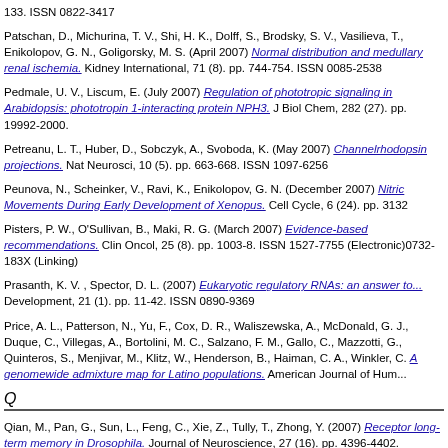133. ISSN 0822-3417
Patschan, D., Michurina, T. V., Shi, H. K., Dolff, S., Brodsky, S. V., Vasilieva, T., Enikolopov, G. N., Goligorsky, M. S. (April 2007) Normal distribution and medullary renal ischemia. Kidney International, 71 (8). pp. 744-754. ISSN 0085-2538
Pedmale, U. V., Liscum, E. (July 2007) Regulation of phototropic signaling in Arabidopsis: phototropin 1-interacting protein NPH3. J Biol Chem, 282 (27). pp. 19992-2000.
Petreanu, L. T., Huber, D., Sobczyk, A., Svoboda, K. (May 2007) Channelrhodopsin projections. Nat Neurosci, 10 (5). pp. 663-668. ISSN 1097-6256
Peunova, N., Scheinker, V., Ravi, K., Enikolopov, G. N. (December 2007) Nitric Movements During Early Development of Xenopus. Cell Cycle, 6 (24). pp. 3132
Pisters, P. W., O'Sullivan, B., Maki, R. G. (March 2007) Evidence-based recommendations. Clin Oncol, 25 (8). pp. 1003-8. ISSN 1527-7755 (Electronic)0732-183X (Linking)
Prasanth, K. V. , Spector, D. L. (2007) Eukaryotic regulatory RNAs: an answer to... Development, 21 (1). pp. 11-42. ISSN 0890-9369
Price, A. L., Patterson, N., Yu, F., Cox, D. R., Waliszewska, A., McDonald, G. J., Duque, C., Villegas, A., Bortolini, M. C., Salzano, F. M., Gallo, C., Mazzotti, G., Quinteros, S., Menjivar, M., Klitz, W., Henderson, B., Haiman, C. A., Winkler, C. A genomewide admixture map for Latino populations. American Journal of Human...
Q
Qian, M., Pan, G., Sun, L., Feng, C., Xie, Z., Tully, T., Zhong, Y. (2007) Receptor long-term memory in Drosophila. Journal of Neuroscience, 27 (16). pp. 4396-4402.